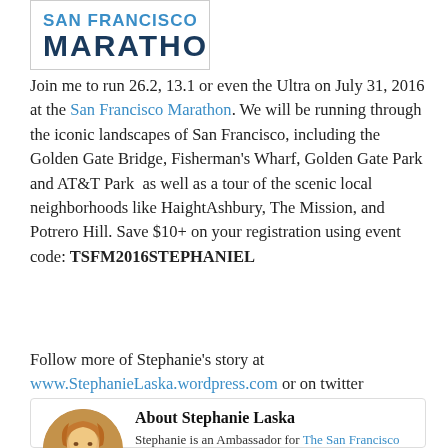[Figure (logo): San Francisco Marathon logo with 'MARATHON' text in bold blue/dark letters]
Join me to run 26.2, 13.1 or even the Ultra on July 31, 2016 at the San Francisco Marathon. We will be running through the iconic landscapes of San Francisco, including the Golden Gate Bridge, Fisherman's Wharf, Golden Gate Park and AT&T Park as well as a tour of the scenic local neighborhoods like HaightAshbury, The Mission, and Potrero Hill. Save $10+ on your registration using event code: TSFM2016STEPHANIEL
Follow more of Stephanie's story at www.StephanieLaska.wordpress.com or on twitter @140lost
About Stephanie Laska
Stephanie is an Ambassador for The San Francisco Marathon. Join her and thousands of runners accomplishing the bucket list run of a